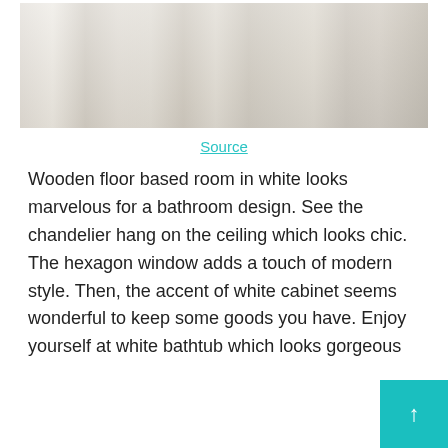[Figure (photo): A bright bathroom/room with wooden plank floors in white/light grey tones, featuring elegant furniture legs (white ornate chair and dark chair), a decorative rug with floral pattern on the right side, and soft natural light casting shadows across the wooden floor.]
Source
Wooden floor based room in white looks marvelous for a bathroom design. See the chandelier hang on the ceiling which looks chic. The hexagon window adds a touch of modern style. Then, the accent of white cabinet seems wonderful to keep some goods you have. Enjoy yourself at white bathtub which looks gorgeous